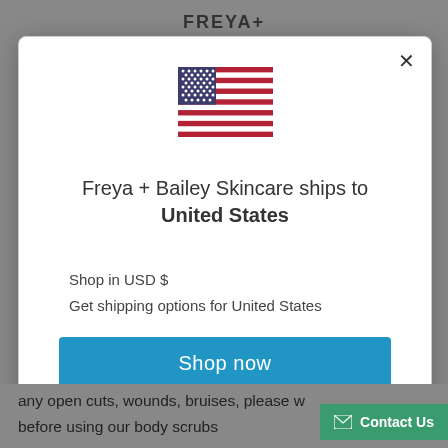FREYA+
[Figure (illustration): US flag emoji/illustration centered in modal]
Freya + Bailey Skincare ships to United States
Shop in USD $
Get shipping options for United States
Shop now
Change shipping country
any open cuts, wounds, bruises, please w
before using our body scrubs